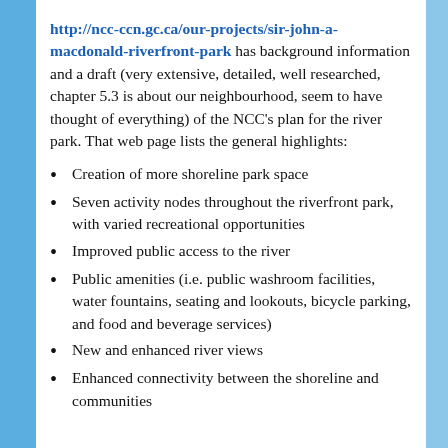http://ncc-ccn.gc.ca/our-projects/sir-john-a-macdonald-riverfront-park has background information and a draft (very extensive, detailed, well researched, chapter 5.3 is about our neighbourhood, seem to have thought of everything) of the NCC's plan for the river park. That web page lists the general highlights:
Creation of more shoreline park space
Seven activity nodes throughout the riverfront park, with varied recreational opportunities
Improved public access to the river
Public amenities (i.e. public washroom facilities, water fountains, seating and lookouts, bicycle parking, and food and beverage services)
New and enhanced river views
Enhanced connectivity between the shoreline and communities